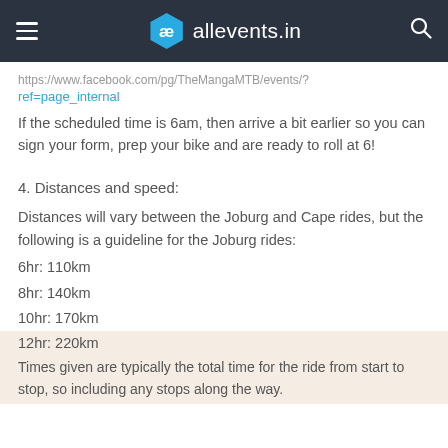allevents.in
https://www.facebook.com/pg/TheMangaMTB/events/?ref=page_internal
If the scheduled time is 6am, then arrive a bit earlier so you can sign your form, prep your bike and are ready to roll at 6!
4. Distances and speed:
Distances will vary between the Joburg and Cape rides, but the following is a guideline for the Joburg rides:
6hr: 110km
8hr: 140km
10hr: 170km
12hr: 220km
Times given are typically the total time for the ride from start to stop, so including any stops along the way.